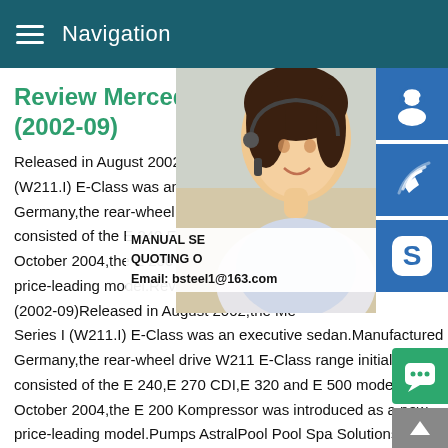Navigation
Review Mercedes-Benz W211 (2002-09)
Released in August 2002,the Mercedes-Benz E-Class Series I (W211.I) E-Class was an executive sedan.Manufactured in Germany,the rear-wheel drive W211 E-Class range initially consisted of the E 240,E 270 CDI,E 320 and E 500 models.In October 2004,the E 200 Kompressor was introduced as a new price-leading model.Review Mercedes-Benz W211 (2002-09)Released in August 2002,the Mercedes-Benz E-Class Series I (W211.I) E-Class was an executive sedan.Manufactured in Germany,the rear-wheel drive W211 E-Class range initially consisted of the E 240,E 270 CDI,E 320 and E 500 models.In October 2004,the E 200 Kompressor was introduced as a new price-leading model.Pumps AstralPool Pool Spa SolutionsE-S...Pump.learn more where to buy.Pumps.FX Pump.learn more w...
[Figure (photo): Woman with headset smiling, customer service representative photo overlay]
[Figure (infographic): Side panel with customer service icon, phone icon, Skype icon, and info bar with MANUAL SE... QUOTING O... Email: bsteel1@163.com]